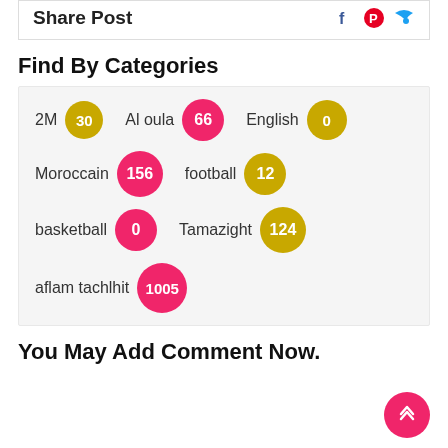Share Post
Find By Categories
2M 30
Al oula 66
English 0
Moroccain 156
football 12
basketball 0
Tamazight 124
aflam tachlhit 1005
You May Add Comment Now.